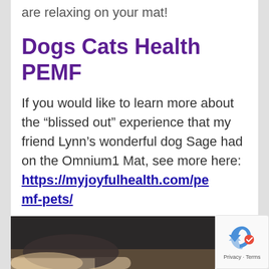are relaxing on your mat!
Dogs Cats Health PEMF
If you would like to learn more about the “blissed out” experience that my friend Lynn’s wonderful dog Sage had on the Omnium1 Mat, see more here: https://myjoyfulhealth.com/pemf-pets/
[Figure (photo): Photo of a dog, partially visible at the bottom of the page, dark fur visible with lighter fur below]